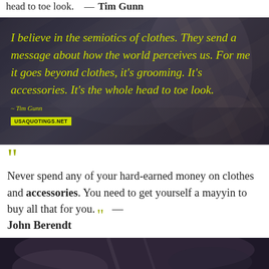head to toe look.  — Tim Gunn
[Figure (photo): Dark atmospheric photo with yellow-green italic quote text: 'I believe in the semiotics of clothes. They send a message about how the world perceives us. For me it goes beyond clothes, it's grooming. It's accessories. It's the whole head to toe look.' Attribution: ~ Tim Gunn. Watermark badge visible.]
Never spend any of your hard-earned money on clothes and accessories. You need to get yourself a mayyin to buy all that for you. — John Berendt
[Figure (photo): Dark atmospheric photograph at bottom of page, partially visible, showing dark tones with subtle figure silhouette.]